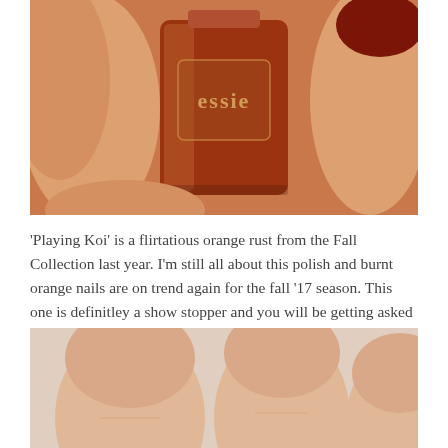[Figure (photo): Close-up photo of a hand holding an Essie nail polish bottle in a burnt orange/rust color called 'Playing Koi'. The nails are painted the same color.]
'Playing Koi' is a flirtatious orange rust from the Fall Collection last year. I'm still all about this polish and burnt orange nails are on trend again for the fall '17 season. This one is definitley a show stopper and you will be getting asked your polish color left and right by those admiring its unique hue.
[Figure (photo): Close-up photo of three bare fingertips/fingers without nail polish, showing the tips of the fingers against a light background.]